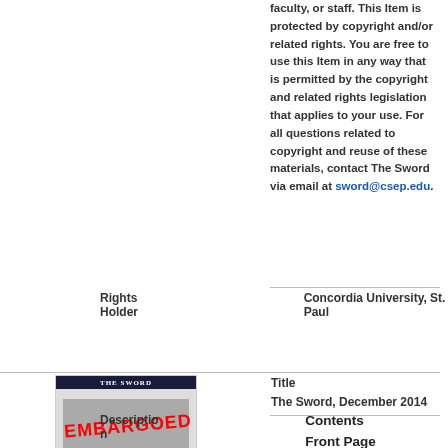faculty, or staff. This Item is protected by copyright and/or related rights. You are free to use this Item in any way that is permitted by the copyright and related rights legislation that applies to your use. For all questions related to copyright and reuse of these materials, contact The Sword via email at sword@csep.edu.
| Rights Holder | Concordia University, St. Paul |
| Title | The Sword, December 2014 |
| Description | Contents

Front Page

• Keeping Concordia Looking Good: CSP Grounds |
[Figure (other): Thumbnail of The Sword newspaper with EMBARGOED stamp overlay]
Keeping Concordia Looking Good: CSP Grounds